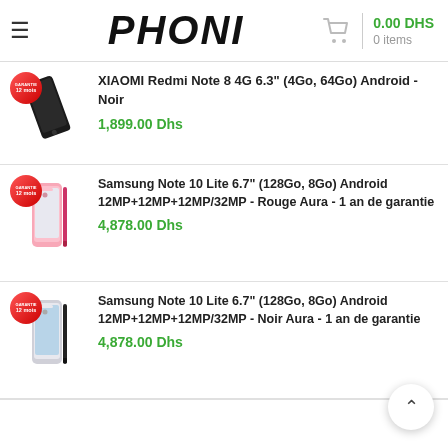PHONI — 0.00 DHS, 0 items
XIAOMI Redmi Note 8 4G 6.3" (4Go, 64Go) Android - Noir
1,899.00 Dhs
Samsung Note 10 Lite 6.7" (128Go, 8Go) Android 12MP+12MP+12MP/32MP - Rouge Aura - 1 an de garantie
4,878.00 Dhs
Samsung Note 10 Lite 6.7" (128Go, 8Go) Android 12MP+12MP+12MP/32MP - Noir Aura - 1 an de garantie
4,878.00 Dhs